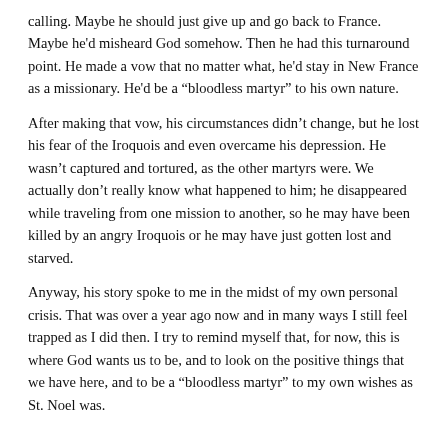calling. Maybe he should just give up and go back to France. Maybe he'd misheard God somehow. Then he had this turnaround point. He made a vow that no matter what, he'd stay in New France as a missionary. He'd be a "bloodless martyr" to his own nature.
After making that vow, his circumstances didn't change, but he lost his fear of the Iroquois and even overcame his depression. He wasn't captured and tortured, as the other martyrs were. We actually don't really know what happened to him; he disappeared while traveling from one mission to another, so he may have been killed by an angry Iroquois or he may have just gotten lost and starved.
Anyway, his story spoke to me in the midst of my own personal crisis. That was over a year ago now and in many ways I still feel trapped as I did then. I try to remind myself that, for now, this is where God wants us to be, and to look on the positive things that we have here, and to be a "bloodless martyr" to my own wishes as St. Noel was.
-What age group are your books best suited for?
I'm a homeschool mom with kids ages 12 to 2, so that's kind of the age range for my books. (Okay, the 2-year-old isn't as interested.) I appreciate materials that I can use with all my kids and find that they respond best when they are all learning together.
Most of the activities are geared to kids who can read and write (so ages 7+)